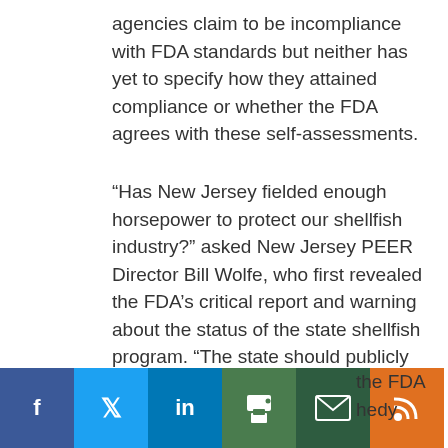agencies claim to be incompliance with FDA standards but neither has yet to specify how they attained compliance or whether the FDA agrees with these self-assessments.
“Has New Jersey fielded enough horsepower to protect our shellfish industry?” asked New Jersey PEER Director Bill Wolfe, who first revealed the FDA’s critical report and warning about the status of the state shellfish program. “The state should publicly release its Action Plans and give the public concrete assurances that these plans are backed up by sufficient personnel and equipment to carry them out.”
[Figure (other): Social media sharing buttons bar: Facebook (blue), Twitter (light blue), LinkedIn (dark blue), Print (green), Email (dark green), RSS (orange), with partially visible text 'the FDA' and 'hedy' to the right]